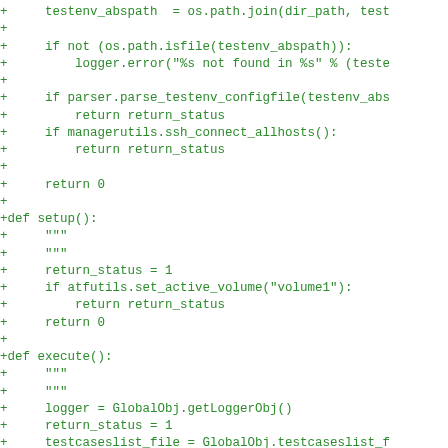[Figure (other): Code diff snippet showing Python source code additions (lines prefixed with +) including functions setup() and execute() with green monospace text on white background]